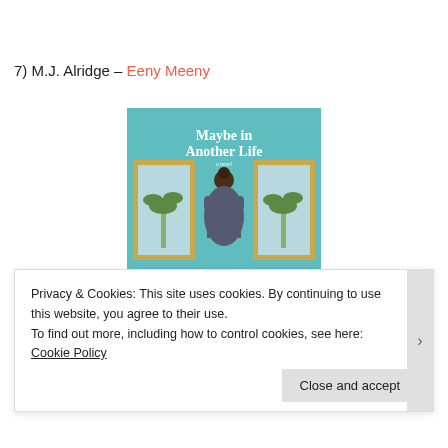7) M.J. Alridge – Eeny Meeny
[Figure (photo): Book cover of 'Maybe in Another Life – a novel' with a teal background, showing a woman with her back turned looking at two framed paintings of palm trees]
Privacy & Cookies: This site uses cookies. By continuing to use this website, you agree to their use.
To find out more, including how to control cookies, see here: Cookie Policy
Close and accept